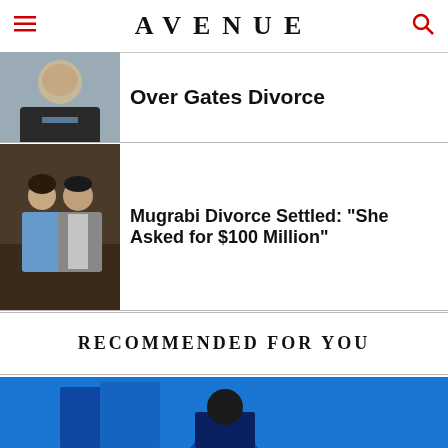AVENUE
[Figure (photo): Partial photo of an older man in a dark sweater, cropped at top]
Over Gates Divorce
[Figure (photo): A couple posing together — a woman in a denim jacket and a man in a grey blazer]
Mugrabi Divorce Settled: "She Asked for $100 Million"
RECOMMENDED FOR YOU
[Figure (photo): Partially visible image with blue background at the bottom of the page]